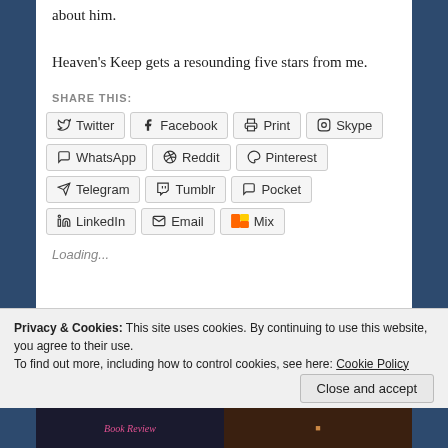about him.

Heaven's Keep gets a resounding five stars from me.
SHARE THIS:
Twitter | Facebook | Print | Skype | WhatsApp | Reddit | Pinterest | Telegram | Tumblr | Pocket | LinkedIn | Email | Mix
Loading...
Privacy & Cookies: This site uses cookies. By continuing to use this website, you agree to their use.
To find out more, including how to control cookies, see here: Cookie Policy

Close and accept